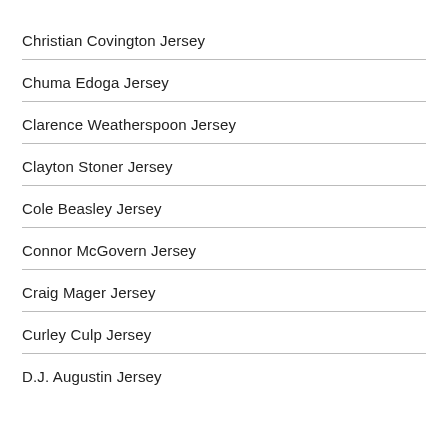Christian Covington Jersey
Chuma Edoga Jersey
Clarence Weatherspoon Jersey
Clayton Stoner Jersey
Cole Beasley Jersey
Connor McGovern Jersey
Craig Mager Jersey
Curley Culp Jersey
D.J. Augustin Jersey